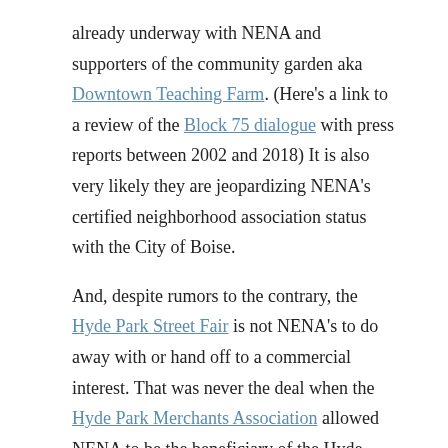already underway with NENA and supporters of the community garden aka Downtown Teaching Farm. (Here's a link to a review of the Block 75 dialogue with press reports between 2002 and 2018) It is also very likely they are jeopardizing NENA's certified neighborhood association status with the City of Boise.
And, despite rumors to the contrary, the Hyde Park Street Fair is not NENA's to do away with or hand off to a commercial interest. That was never the deal when the Hyde Park Merchants Association allowed NENA to be the beneficiary of the Hyde Park Street Fair in 1981 and to begin managing the event a few years later prior to its move to Camels Back Park. The street fair is more than a fundraiser. As an example, In 2002 after 9/11, the street fair is where our neighborhood came to remember and heal, in 2021 it will fill much the